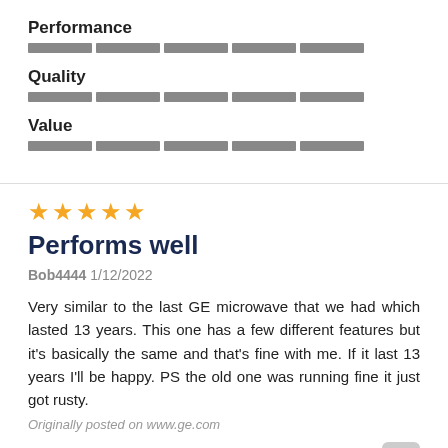Performance
[Figure (other): 5-segment rating bar for Performance, all segments filled gray]
Quality
[Figure (other): 5-segment rating bar for Quality, all segments filled gray]
Value
[Figure (other): 5-segment rating bar for Value, all segments filled gray]
[Figure (other): 5 gold star rating icons]
Performs well
Bob4444 1/12/2022
Very similar to the last GE microwave that we had which lasted 13 years. This one has a few different features but it's basically the same and that's fine with me. If it last 13 years I'll be happy. PS the old one was running fine it just got rusty.
Originally posted on www.ge.com
Yes, I recommend this product
Appearance